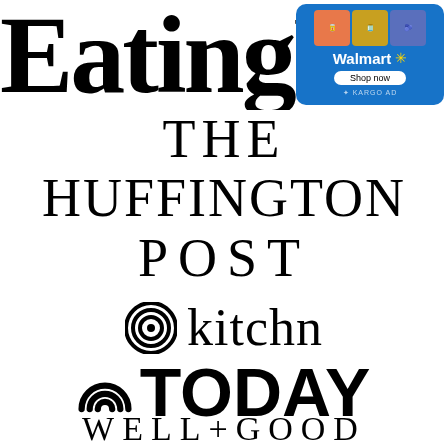[Figure (logo): EatingWell logo in large black serif font, partially cropped on the right]
[Figure (screenshot): Walmart advertisement with product images, Walmart name and spark logo, Shop now button, and KARGO AD label]
[Figure (logo): The Huffington Post logo in large black serif uppercase letters, centered]
[Figure (logo): kitchn logo with concentric circles icon and lowercase text in serif font]
[Figure (logo): TODAY show logo with rainbow arc icon and bold sans-serif text]
[Figure (logo): WELL+GOOD logo in spaced serif uppercase letters]